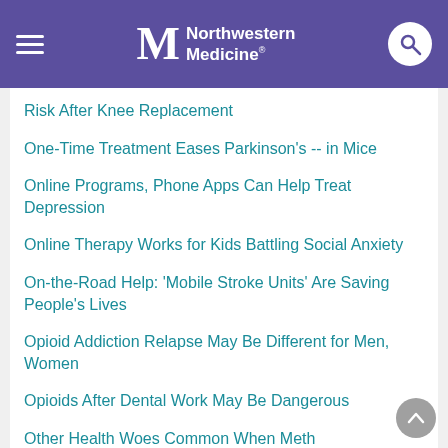Northwestern Medicine
Risk After Knee Replacement
One-Time Treatment Eases Parkinson's -- in Mice
Online Programs, Phone Apps Can Help Treat Depression
Online Therapy Works for Kids Battling Social Anxiety
On-the-Road Help: 'Mobile Stroke Units' Are Saving People's Lives
Opioid Addiction Relapse May Be Different for Men, Women
Opioids After Dental Work May Be Dangerous
Other Health Woes Common When Meth